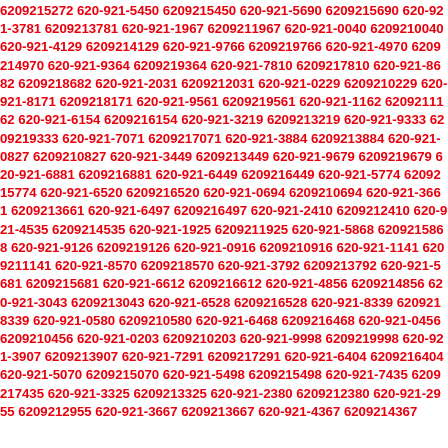6209215272 620-921-5450 6209215450 620-921-5690 6209215690 620-921-3781 6209213781 620-921-1967 6209211967 620-921-0040 6209210040 620-921-4129 6209214129 620-921-9766 6209219766 620-921-4970 6209214970 620-921-9364 6209219364 620-921-7810 6209217810 620-921-8682 6209218682 620-921-2031 6209212031 620-921-0229 6209210229 620-921-8171 6209218171 620-921-9561 6209219561 620-921-1162 6209211162 620-921-6154 6209216154 620-921-3219 6209213219 620-921-9333 6209219333 620-921-7071 6209217071 620-921-3884 6209213884 620-921-0827 6209210827 620-921-3449 6209213449 620-921-9679 6209219679 620-921-6881 6209216881 620-921-6449 6209216449 620-921-5774 6209215774 620-921-6520 6209216520 620-921-0694 6209210694 620-921-3661 6209213661 620-921-6497 6209216497 620-921-2410 6209212410 620-921-4535 6209214535 620-921-1925 6209211925 620-921-5868 6209215868 620-921-9126 6209219126 620-921-0916 6209210916 620-921-1141 6209211141 620-921-8570 6209218570 620-921-3792 6209213792 620-921-5681 6209215681 620-921-6612 6209216612 620-921-4856 6209214856 620-921-3043 6209213043 620-921-6528 6209216528 620-921-8339 6209218339 620-921-0580 6209210580 620-921-6468 6209216468 620-921-0456 6209210456 620-921-0203 6209210203 620-921-9998 6209219998 620-921-3907 6209213907 620-921-7291 6209217291 620-921-6404 6209216404 620-921-5070 6209215070 620-921-5498 6209215498 620-921-7435 6209217435 620-921-3325 6209213325 620-921-2380 6209212380 620-921-2955 6209212955 620-921-3667 6209213667 620-921-4367 6209214367